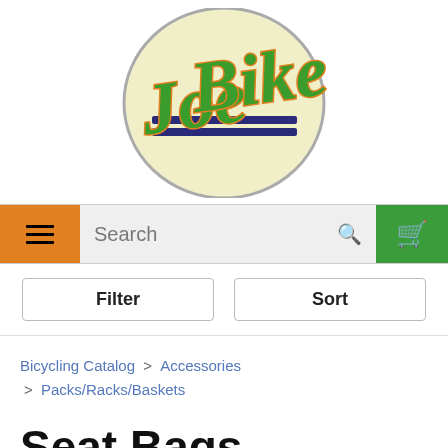[Figure (logo): Joe Bike logo: circular cream/yellow background with cursive green and orange lettering reading 'Joe Bike', with navy blue horizontal stripes beneath the text]
Search
Filter   Sort
Bicycling Catalog > Accessories > Packs/Racks/Baskets
Seat Bags